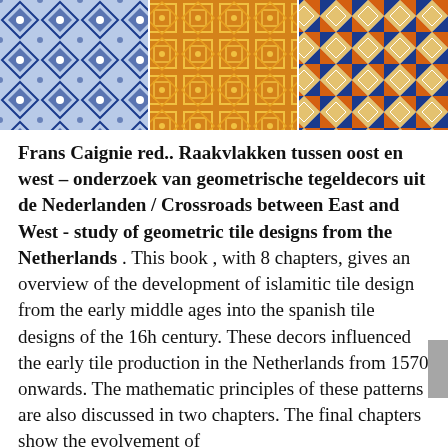[Figure (photo): Three panels of decorative ceramic tiles side by side. Left panel shows blue and white geometric patterns, middle panel shows golden-yellow ornamental tile designs, right panel shows blue, orange and white geometric tile patterns.]
Frans Caignie red.. Raakvlakken tussen oost en west – onderzoek van geometrische tegeldecors uit de Nederlanden / Crossroads between East and West - study of geometric tile designs from the Netherlands . This book , with 8 chapters, gives an overview of the development of islamitic tile design from the early middle ages into the spanish tile designs of the 16h century. These decors influenced the early tile production in the Netherlands from 1570 onwards. The mathematic principles of these patterns are also discussed in two chapters. The final chapters show the evolvement of